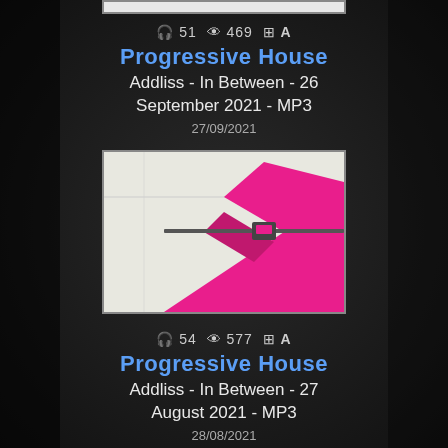[Figure (photo): Thumbnail image with white room background and pink geometric X shape, partially visible at top]
51 469
Progressive House
Addliss - In Between - 26 September 2021 - MP3
27/09/2021
[Figure (photo): Thumbnail image with white room background and large pink geometric X shape]
54 577
Progressive House
Addliss - In Between - 27 August 2021 - MP3
28/08/2021
[Figure (photo): Thumbnail image partially visible at bottom, showing blue sky]